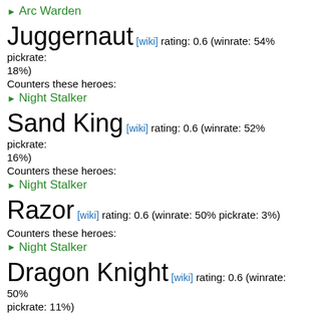▶ Arc Warden
Juggernaut [wiki] rating: 0.6 (winrate: 54% pickrate: 18%)
Counters these heroes:
▶ Night Stalker
Sand King [wiki] rating: 0.6 (winrate: 52% pickrate: 16%)
Counters these heroes:
▶ Night Stalker
Razor [wiki] rating: 0.6 (winrate: 50% pickrate: 3%)
Counters these heroes:
▶ Night Stalker
Dragon Knight [wiki] rating: 0.6 (winrate: 50% pickrate: 11%)
Counters these heroes:
▶ Night Stalker
Leshrac [wiki] rating: 0.6 (winrate: 49% pickrate: 3%)